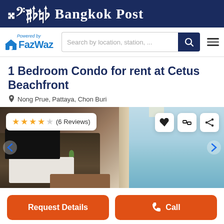Bangkok Post
[Figure (logo): FazWaz logo with 'Powered by' text and search bar with navigation]
1 Bedroom Condo for rent at Cetus Beachfront
Nong Prue, Pattaya, Chon Buri
[Figure (photo): Interior photo of condo unit showing TV unit, furniture, and beachfront view through glass windows. Rating overlay: 4 stars (6 Reviews). Action buttons on right.]
Request Details
Call